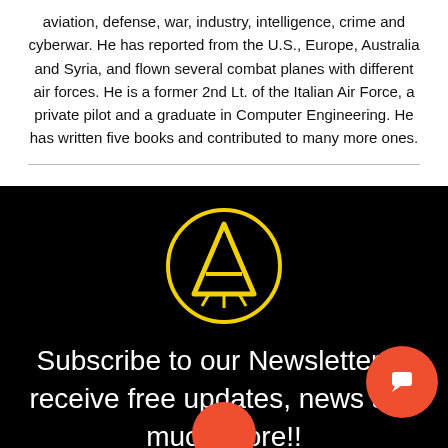aviation, defense, war, industry, intelligence, crime and cyberwar. He has reported from the U.S., Europe, Australia and Syria, and flown several combat planes with different air forces. He is a former 2nd Lt. of the Italian Air Force, a private pilot and a graduate in Computer Engineering. He has written five books and contributed to many more ones.
[Figure (logo): Black banner with yellow circular logo containing a stylized letter A with crossed lines below, and white text 'Subscribe to our Newsletter to receive free updates, news and much more!!' with orange circle icons]